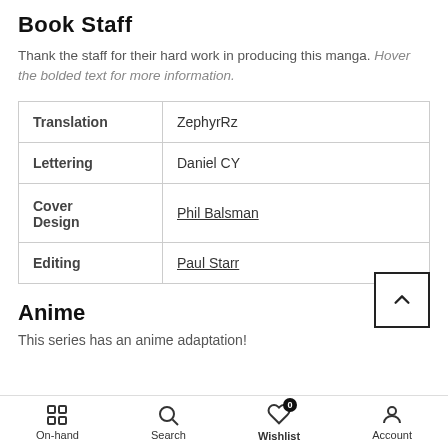Book Staff
Thank the staff for their hard work in producing this manga. Hover the bolded text for more information.
| Role | Name |
| --- | --- |
| Translation | ZephyrRz |
| Lettering | Daniel CY |
| Cover Design | Phil Balsman |
| Editing | Paul Starr |
Anime
This series has an anime adaptation!
On-hand  Search  Wishlist  Account